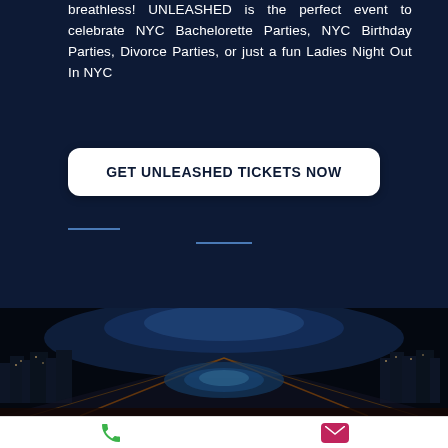breathless! UNLEASHED is the perfect event to celebrate NYC Bachelorette Parties, NYC Birthday Parties, Divorce Parties, or just a fun Ladies Night Out In NYC
GET UNLEASHED TICKETS NOW
[Figure (photo): Blurred aerial night city view with glowing blue and orange lights, showing what appears to be a rooftop pool or venue with city skyline in background]
[Figure (infographic): Bottom navigation bar with green phone icon on left and pink/magenta mail envelope icon on right]